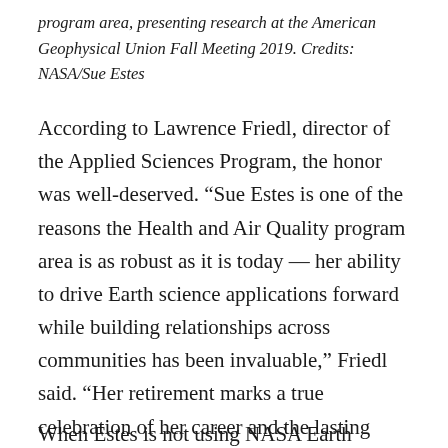program area, presenting research at the American Geophysical Union Fall Meeting 2019. Credits: NASA/Sue Estes
According to Lawrence Friedl, director of the Applied Sciences Program, the honor was well-deserved. “Sue Estes is one of the reasons the Health and Air Quality program area is as robust as it is today — her ability to drive Earth science applications forward while building relationships across communities has been invaluable,” Friedl said. “Her retirement marks a true celebration of her career and the lasting impact she’s had with the Applied Sciences Program.”
When Estes is not using NASA Earth observations